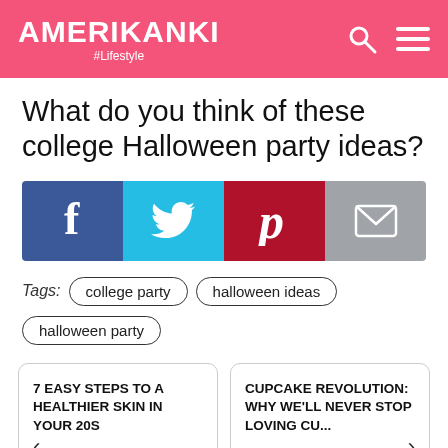AMERIKANKI #Lifestyle
What do you think of these college Halloween party ideas?
[Figure (infographic): Social sharing buttons: Facebook (blue), Twitter (light blue), Pinterest (dark red), Email (gray)]
Tags: college party | halloween ideas | halloween party
7 EASY STEPS TO A HEALTHIER SKIN IN YOUR 20S
CUPCAKE REVOLUTION: WHY WE'LL NEVER STOP LOVING CU...